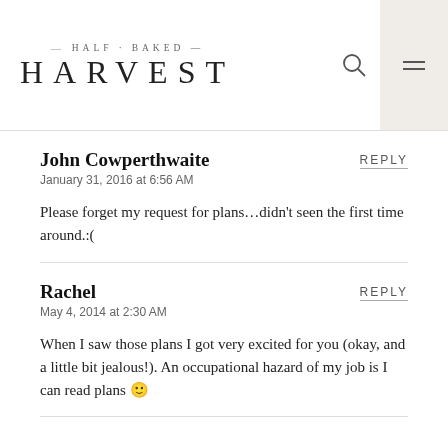HALF BAKED HARVEST
REPLY
John Cowperthwaite
January 31, 2016 at 6:56 AM
Please forget my request for plans…didn't seen the first time around.:(
REPLY
Rachel
May 4, 2014 at 2:30 AM
When I saw those plans I got very excited for you (okay, and a little bit jealous!). An occupational hazard of my job is I can read plans 😊